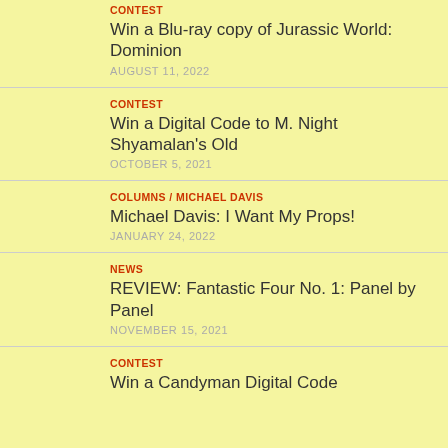CONTEST
Win a Blu-ray copy of Jurassic World: Dominion
AUGUST 11, 2022
CONTEST
Win a Digital Code to M. Night Shyamalan's Old
OCTOBER 5, 2021
COLUMNS / MICHAEL DAVIS
Michael Davis: I Want My Props!
JANUARY 24, 2022
NEWS
REVIEW: Fantastic Four No. 1: Panel by Panel
NOVEMBER 15, 2021
CONTEST
Win a Candyman Digital Code